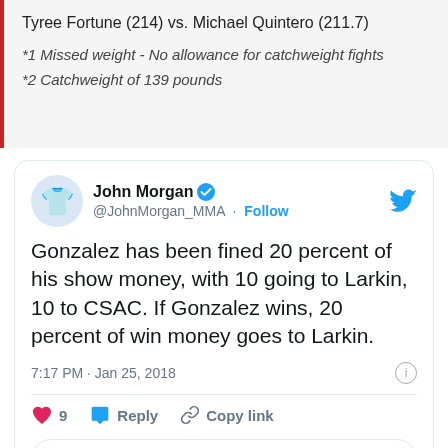Tyree Fortune (214) vs. Michael Quintero (211.7)
*1 Missed weight - No allowance for catchweight fights
*2 Catchweight of 139 pounds
[Figure (screenshot): Tweet from John Morgan (@JohnMorgan_MMA): 'Gonzalez has been fined 20 percent of his show money, with 10 going to Larkin, 10 to CSAC. If Gonzalez wins, 20 percent of win money goes to Larkin.' Posted 7:17 PM · Jan 25, 2018. 9 likes, Reply, Copy link, Read 3 replies.]